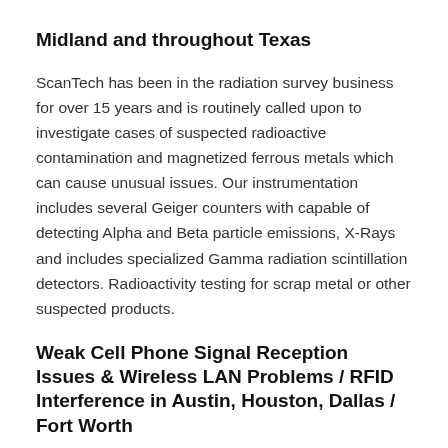Midland and throughout Texas
ScanTech has been in the radiation survey business for over 15 years and is routinely called upon to investigate cases of suspected radioactive contamination and magnetized ferrous metals which can cause unusual issues. Our instrumentation includes several Geiger counters with capable of detecting Alpha and Beta particle emissions, X-Rays and includes specialized Gamma radiation scintillation detectors. Radioactivity testing for scrap metal or other suspected products.
Weak Cell Phone Signal Reception Issues & Wireless LAN Problems / RFID Interference in Austin, Houston, Dallas / Fort Worth
Weak Cellular Phone (including 2G / 3G / 4G LTE / 5G) & Wireless Strength Measurements with consulting for